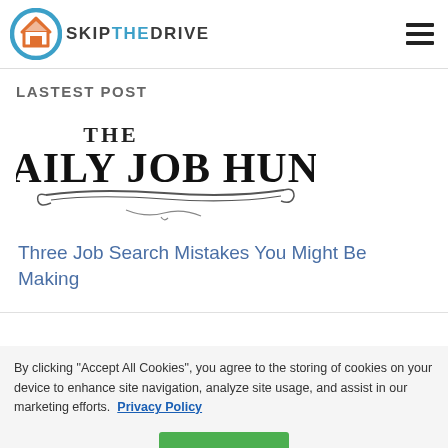SKIPTHEDRIVE
LASTEST POST
[Figure (logo): The Daily Job Hunt logo — vintage serif text reading 'THE DAILY JOB HUNT' with decorative underline flourishes]
Three Job Search Mistakes You Might Be Making
By clicking "Accept All Cookies", you agree to the storing of cookies on your device to enhance site navigation, analyze site usage, and assist in our marketing efforts.  Privacy Policy